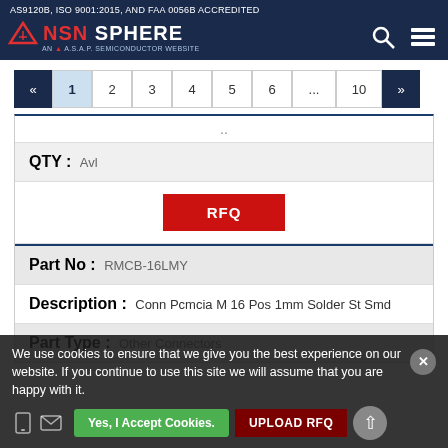AS9120B, ISO 9001:2015, AND FAA 0056B ACCREDITED
[Figure (logo): NSN Sphere logo with triangle, AN A.S.A.P. SEMICONDUCTOR WEBSITE]
« 1 2 3 4 5 6 ... 10 »
..
QTY : Avl
RFQ
Part No : RMCB-16LMY
Description : Conn Pcmcia M 16 Pos 1mm Solder St Smd
Part Type : Other Connectors
We use cookies to ensure that we give you the best experience on our website. If you continue to use this site we will assume that you are happy with it.
Yes, I Accept Cookies.
UPLOAD RFQ